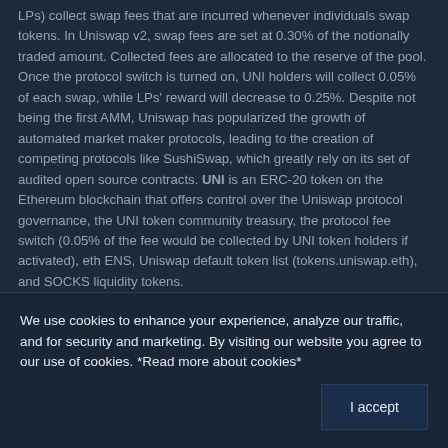LPs) collect swap fees that are incurred whenever individuals swap tokens. In Uniswap v2, swap fees are set at 0.30% of the notionally traded amount. Collected fees are allocated to the reserve of the pool. Once the protocol switch is turned on, UNI holders will collect 0.05% of each swap, while LPs' reward will decrease to 0.25%. Despite not being the first AMM, Uniswap has popularized the growth of automated market maker protocols, leading to the creation of competing protocols like SushiSwap, which greatly rely on its set of audited open source contracts. UNI is an ERC-20 token on the Ethereum blockchain that offers control over the Uniswap protocol governance, the UNI token community treasury, the protocol fee switch (0.05% of the fee would be collected by UNI token holders if activated), eth ENS, Uniswap default token list (tokens.uniswap.eth), and SOCKS liquidity tokens.
We use cookies to enhance your experience, analyze our traffic, and for security and marketing. By visiting our website you agree to our use of cookies. *Read more about cookies*